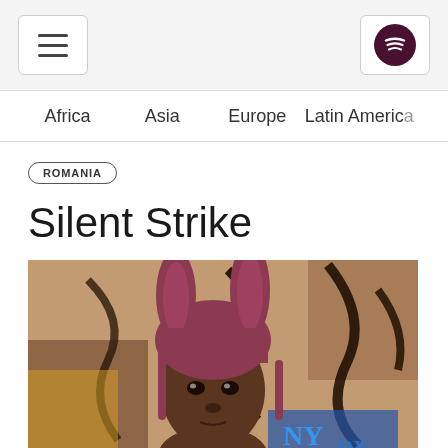Hamburger menu and Spotify logo navigation
Africa   Asia   Europe   Latin America
ROMANIA
Silent Strike
[Figure (photo): A young person wearing a pink/mauve bunny-ear hat, photographed against a graffiti-covered wall with bold black markings and colorful posters.]